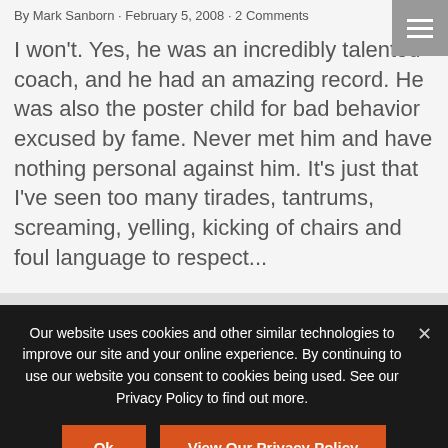By Mark Sanborn · February 5, 2008 · 2 Comments
I won't. Yes, he was an incredibly talented coach, and he had an amazing record. He was also the poster child for bad behavior excused by fame. Never met him and have nothing personal against him. It's just that I've seen too many tirades, tantrums, screaming, yelling, kicking of chairs and foul language to respect...
Our website uses cookies and other similar technologies to improve our site and your online experience. By continuing to use our website you consent to cookies being used. See our Privacy Policy to find out more.
Ok
View Our Privacy Policy